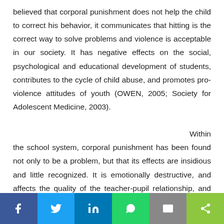believed that corporal punishment does not help the child to correct his behavior, it communicates that hitting is the correct way to solve problems and violence is acceptable in our society. It has negative effects on the social, psychological and educational development of students, contributes to the cycle of child abuse, and promotes pro-violence attitudes of youth (OWEN, 2005; Society for Adolescent Medicine, 2003).

Within the school system, corporal punishment has been found not only to be a problem, but that its effects are insidious and little recognized. It is emotionally destructive, and affects the quality of the teacher-pupil relationship, and cut off all